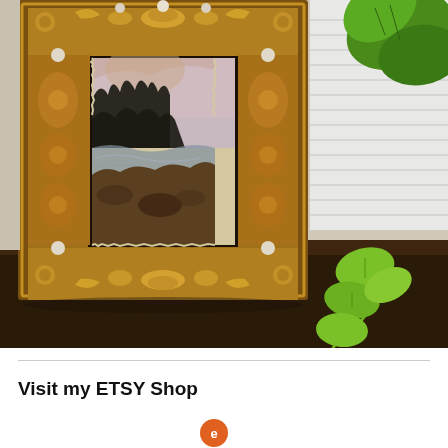[Figure (photo): A landscape painting in an ornate gold baroque picture frame, displayed on a dark wooden surface. The painting shows a misty landscape with dark trees and a reflective stream or river. A white ribbed planter pot and green trailing plant leaves (pothos) are visible in the background and foreground.]
Visit my ETSY Shop